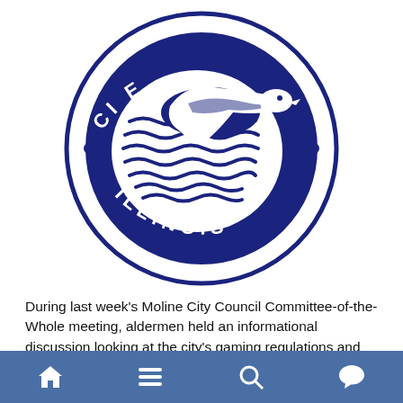[Figure (logo): Circular seal/logo of Moline, Illinois with a blue background showing waves and a bird silhouette, with the text 'ILLINOIS' along the bottom arc and dots on either side]
During last week's Moline City Council Committee-of-the-Whole meeting, aldermen held an informational discussion looking at the city's gaming regulations and whether they should be modified in order to allow more establishments to offer slots and other gaming machines as well as increasing the number of gaming stations allowed in those establishments. Before the
[Figure (other): Mobile app navigation bar with home, menu, search, and chat icons on a blue/steel background]